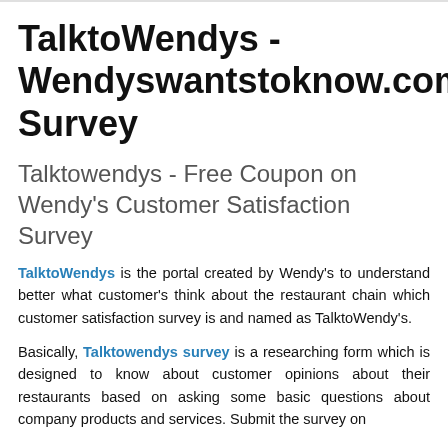TalktoWendys - Wendyswantstoknow.com Survey
Talktowendys - Free Coupon on Wendy's Customer Satisfaction Survey
TalktoWendys is the portal created by Wendy's to understand better what customer's think about the restaurant chain which customer satisfaction survey is and named as TalktoWendy's.
Basically, Talktowendys survey is a researching form which is designed to know about customer opinions about their restaurants based on asking some basic questions about company products and services. Submit the survey on